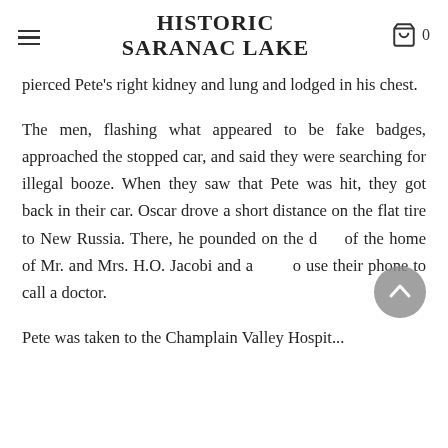HISTORIC SARANAC LAKE
pierced Pete's right kidney and lung and lodged in his chest.
The men, flashing what appeared to be fake badges, approached the stopped car, and said they were searching for illegal booze. When they saw that Pete was hit, they got back in their car. Oscar drove a short distance on the flat tire to New Russia. There, he pounded on the d  of the home of Mr. and Mrs. H.O. Jacobi and a  o use their phone to call a doctor.
Pete was taken to the Champlain Valley Hospital...